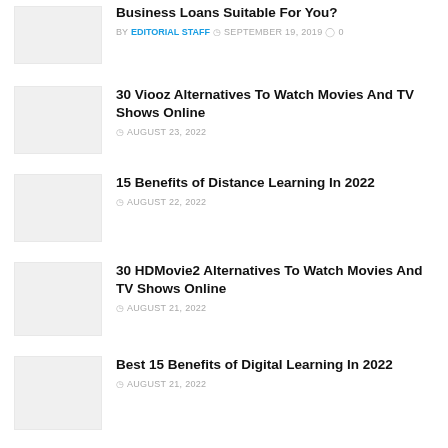Business Loans Suitable For You?
BY EDITORIAL STAFF  SEPTEMBER 19, 2019  0
30 Viooz Alternatives To Watch Movies And TV Shows Online
AUGUST 23, 2022
15 Benefits of Distance Learning In 2022
AUGUST 22, 2022
30 HDMovie2 Alternatives To Watch Movies And TV Shows Online
AUGUST 21, 2022
Best 15 Benefits of Digital Learning In 2022
AUGUST 21, 2022
The 11 Best Help Desk Ticketing Systems for 2022